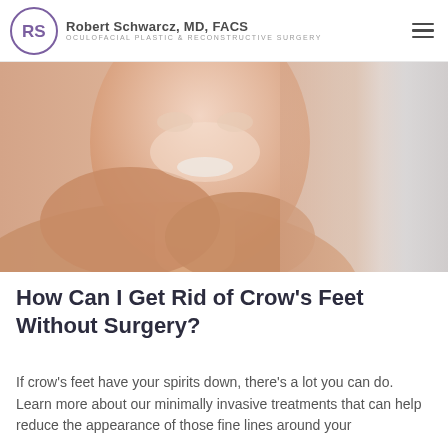Robert Schwarcz, MD, FACS — OCULOFACIAL PLASTIC & RECONSTRUCTIVE SURGERY
[Figure (photo): A smiling woman with clear skin touching her face with both hands, partially bare-shouldered, against a light gradient background — used as hero image for a cosmetic/reconstructive surgery blog post about crow's feet treatment.]
How Can I Get Rid of Crow's Feet Without Surgery?
If crow's feet have your spirits down, there's a lot you can do. Learn more about our minimally invasive treatments that can help reduce the appearance of those fine lines around your